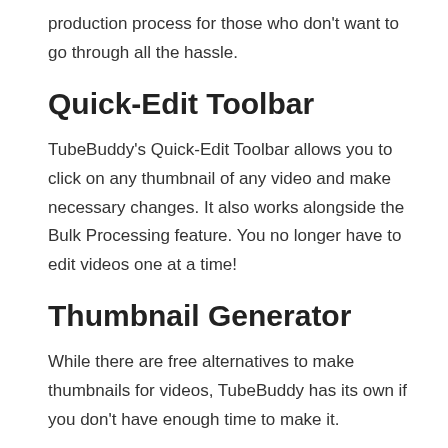production process for those who don't want to go through all the hassle.
Quick-Edit Toolbar
TubeBuddy's Quick-Edit Toolbar allows you to click on any thumbnail of any video and make necessary changes. It also works alongside the Bulk Processing feature. You no longer have to edit videos one at a time!
Thumbnail Generator
While there are free alternatives to make thumbnails for videos, TubeBuddy has its own if you don't have enough time to make it.
You have the choice of either using a still from your video, a solid background color, or an existing image set for the video. All of this can be personalized to your liking or if you have a branding guide